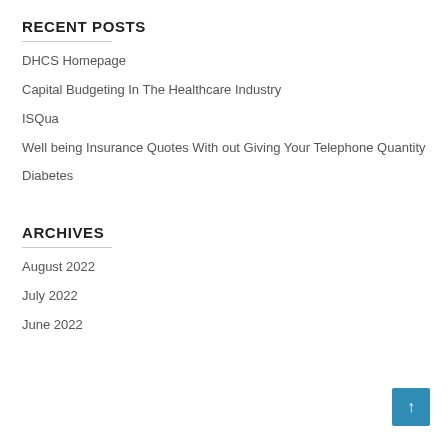RECENT POSTS
DHCS Homepage
Capital Budgeting In The Healthcare Industry
ISQua
Well being Insurance Quotes With out Giving Your Telephone Quantity
Diabetes
ARCHIVES
August 2022
July 2022
June 2022